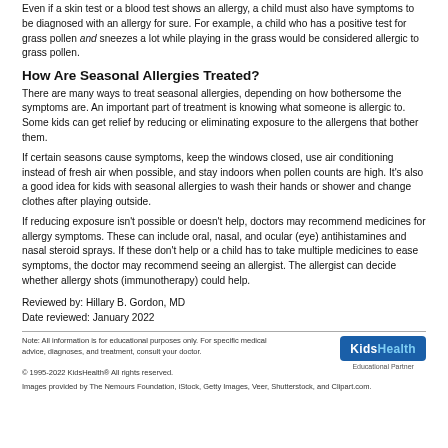Even if a skin test or a blood test shows an allergy, a child must also have symptoms to be diagnosed with an allergy for sure. For example, a child who has a positive test for grass pollen and sneezes a lot while playing in the grass would be considered allergic to grass pollen.
How Are Seasonal Allergies Treated?
There are many ways to treat seasonal allergies, depending on how bothersome the symptoms are. An important part of treatment is knowing what someone is allergic to. Some kids can get relief by reducing or eliminating exposure to the allergens that bother them.
If certain seasons cause symptoms, keep the windows closed, use air conditioning instead of fresh air when possible, and stay indoors when pollen counts are high. It's also a good idea for kids with seasonal allergies to wash their hands or shower and change clothes after playing outside.
If reducing exposure isn't possible or doesn't help, doctors may recommend medicines for allergy symptoms. These can include oral, nasal, and ocular (eye) antihistamines and nasal steroid sprays. If these don't help or a child has to take multiple medicines to ease symptoms, the doctor may recommend seeing an allergist. The allergist can decide whether allergy shots (immunotherapy) could help.
Reviewed by: Hillary B. Gordon, MD
Date reviewed: January 2022
Note: All information is for educational purposes only. For specific medical advice, diagnoses, and treatment, consult your doctor.
© 1995-2022 KidsHealth® All rights reserved.
Images provided by The Nemours Foundation, iStock, Getty Images, Veer, Shutterstock, and Clipart.com.